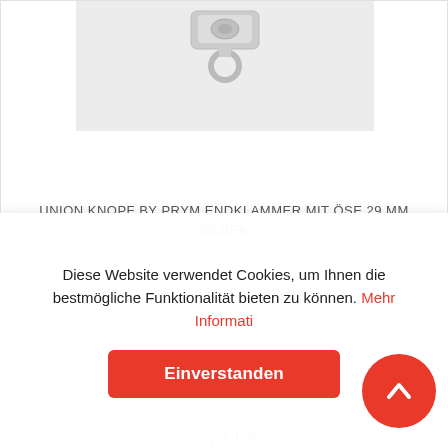[Figure (photo): Product photo of a silver metal end clamp/clasp with eyelet — partially visible at top of card]
UNION KNOPF BY PRYM ENDKLAMMER MIT ÖSE 29 MM SILBER
2,20 €
[Figure (photo): Second product card partially visible — light grey image placeholder area]
Diese Website verwendet Cookies, um Ihnen die bestmögliche Funktionalität bieten zu können. Mehr Informati...
Einverstanden